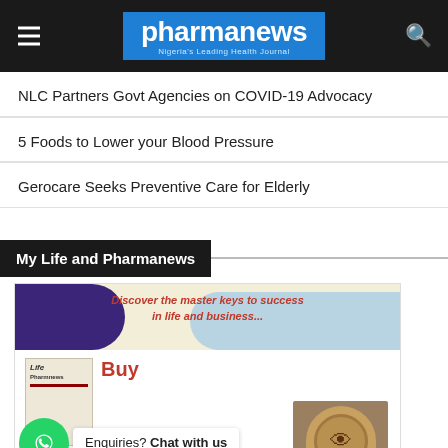pharmanews — Nigeria's Leading Health Journal
NLC Partners Govt Agencies on COVID-19 Advocacy
5 Foods to Lower your Blood Pressure
Gerocare Seeks Preventive Care for Elderly
My Life and Pharmanews
[Figure (advertisement): Book advertisement: 'Discover the master keys to success in life and business...' with Buy button, My Life and Pharmanews book cover, and a WhatsApp chat bubble saying 'Enquiries? Chat with us', plus a photo of an elderly man with glasses.]